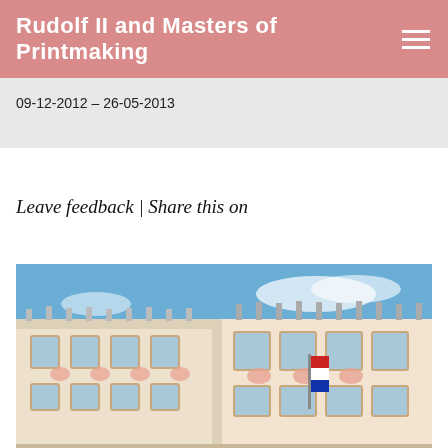Rudolf II and Masters of Printmaking
09-12-2012 – 26-05-2013
Leave feedback | Share this on
[Figure (photo): Exterior photograph of a baroque palace building with ornate pink and cream facade, large windows, decorative sculptures along the roofline and facade, and a clear blue sky in the background.]